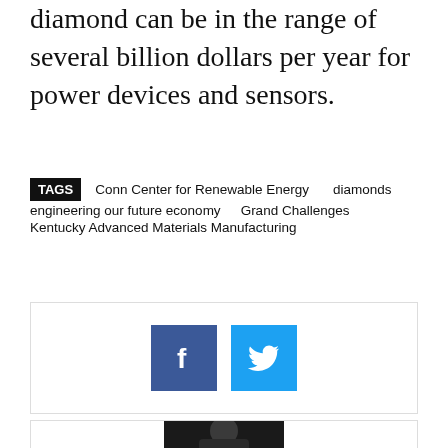diamond can be in the range of several billion dollars per year for power devices and sensors.
TAGS  Conn Center for Renewable Energy  diamonds  engineering our future economy  Grand Challenges  Kentucky Advanced Materials Manufacturing
[Figure (other): Social sharing buttons: Facebook (blue square with 'f' icon) and Twitter (light blue square with bird icon)]
[Figure (photo): Headshot of a man with glasses and a beard against a dark background]